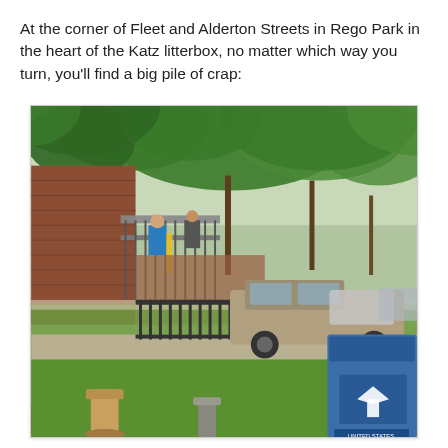At the corner of Fleet and Alderton Streets in Rego Park in the heart of the Katz litterbox, no matter which way you turn, you'll find a big pile of crap:
[Figure (photo): Street-level photo at the corner of Fleet and Alderton Streets in Rego Park. Shows a brick apartment building on the left with an exterior metal staircase/balcony where two people are visible. A silver/tan pickup truck is parked along the street. Black iron fence runs along the sidewalk. Tree-lined street recedes into the background with more parked vehicles visible. In the foreground bottom-right is a blue USPS mailbox. A fire hydrant is visible at the bottom-left. Green trees canopy over the sidewalk area.]